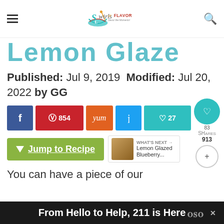Swirls of FLAVOR — Savor the Moments!
Lemon Glaze
Published: Jul 9, 2019 Modified: Jul 20, 2022 by GG
[Figure (infographic): Social sharing buttons: Facebook, Pinterest 854, Yummly, Twitter, Like 27. Share bubble showing 83 shares, 913 total. Secondary share button.]
[Figure (infographic): Green Jump to Recipe button with down arrow. What's Next panel with thumbnail and text: Lemon Glazed Blueberry...]
You can have a piece of our
From Hello to Help, 211 is Here